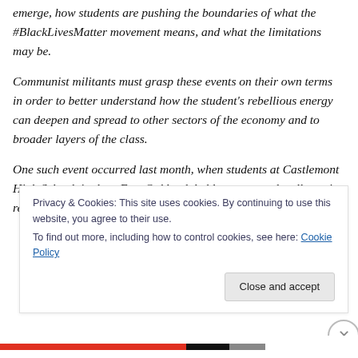emerge, how students are pushing the boundaries of what the #BlackLivesMatter movement means, and what the limitations may be.
Communist militants must grasp these events on their own terms in order to better understand how the student's rebellious energy can deepen and spread to other sectors of the economy and to broader layers of the class.
One such event occurred last month, when students at Castlemont High School, in deep East Oakland, held protests and walkouts in response to the police murder of
Privacy & Cookies: This site uses cookies. By continuing to use this website, you agree to their use.
To find out more, including how to control cookies, see here: Cookie Policy